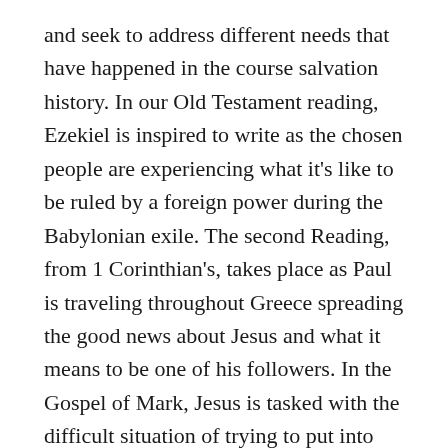and seek to address different needs that have happened in the course salvation history. In our Old Testament reading, Ezekiel is inspired to write as the chosen people are experiencing what it's like to be ruled by a foreign power during the Babylonian exile. The second Reading, from 1 Corinthian's, takes place as Paul is traveling throughout Greece spreading the good news about Jesus and what it means to be one of his followers. In the Gospel of Mark, Jesus is tasked with the difficult situation of trying to put into words that we can understand, what is meant by the kingdom of God.
That is precisely the focus of our readings this weekend the building and the meaning of the kingdom of God. Those words we heard from Ezekiel, tell of how God is going to eventually end a period of exile and restore the